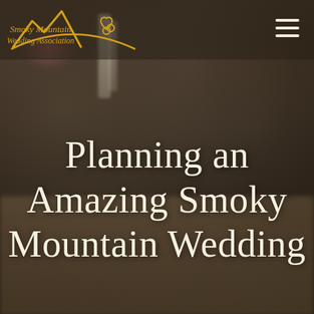[Figure (photo): Background photo of a wedding reception table setting with floral centerpieces, candles, and white chairs, shown blurred and darkened. A navigation bar overlays the top with the Smoky Mountain Wedding Association logo on the left and a hamburger menu icon on the right.]
Smoky Mountain Wedding Association
Planning an Amazing Smoky Mountain Wedding